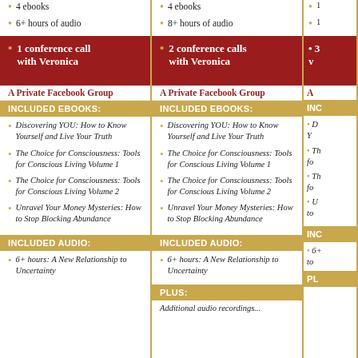4 ebooks
6+ hours of audio
1 conference call with Veronica
A Private Facebook Group
INCLUDED EBOOKS:
Discovering YOU: How to Know Yourself and Live Your Truth
The Choice for Consciousness: Tools for Conscious Living Volume 1
The Choice for Consciousness: Tools for Conscious Living Volume 2
Unravel Your Money Mysteries: How to Stop Blocking Abundance
INCLUDED AUDIO:
6+ hours: A New Relationship to Uncertainty
4 ebooks
8+ hours of audio
2 conference calls with Veronica
A Private Facebook Group
INCLUDED EBOOKS:
Discovering YOU: How to Know Yourself and Live Your Truth
The Choice for Consciousness: Tools for Conscious Living Volume 1
The Choice for Consciousness: Tools for Conscious Living Volume 2
Unravel Your Money Mysteries: How to Stop Blocking Abundance
INCLUDED AUDIO:
6+ hours: A New Relationship to Uncertainty
PLUS:
Additional audio recordings...